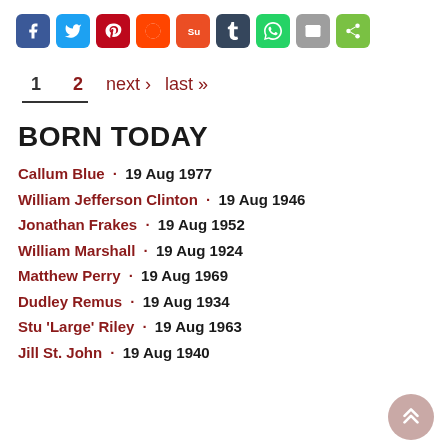[Figure (infographic): Row of social media sharing icon buttons: Facebook (blue), Twitter (light blue), Pinterest (red), Reddit (orange-red), StumbleUpon (orange), Tumblr (dark blue), WhatsApp (green), Email (grey), Share (green)]
1   2   next ›   last »
BORN TODAY
Callum Blue · 19 Aug 1977
William Jefferson Clinton · 19 Aug 1946
Jonathan Frakes · 19 Aug 1952
William Marshall · 19 Aug 1924
Matthew Perry · 19 Aug 1969
Dudley Remus · 19 Aug 1934
Stu 'Large' Riley · 19 Aug 1963
Jill St. John · 19 Aug 1940